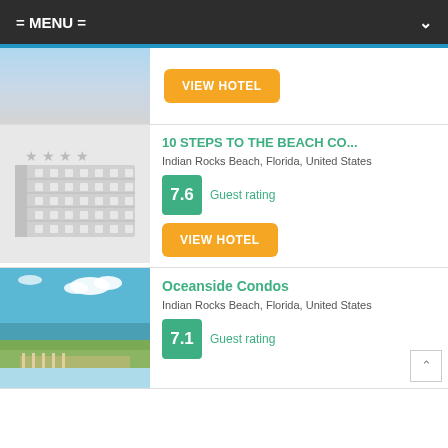= MENU =
[Figure (screenshot): Partial hotel image visible at top of page]
VIEW HOTEL
10 STEPS TO THE BEACH CO...
Indian Rocks Beach, Florida, United States
7.6 Guest rating
VIEW HOTEL
Oceanside Condos
Indian Rocks Beach, Florida, United States
7.1 Guest rating